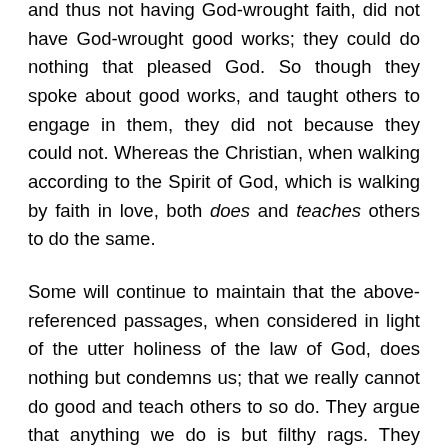and thus not having God-wrought faith, did not have God-wrought good works; they could do nothing that pleased God. So though they spoke about good works, and taught others to engage in them, they did not because they could not. Whereas the Christian, when walking according to the Spirit of God, which is walking by faith in love, both does and teaches others to do the same.
Some will continue to maintain that the above-referenced passages, when considered in light of the utter holiness of the law of God, does nothing but condemns us; that we really cannot do good and teach others to so do. They argue that anything we do is but filthy rags. They maintain this because they (1) cannot